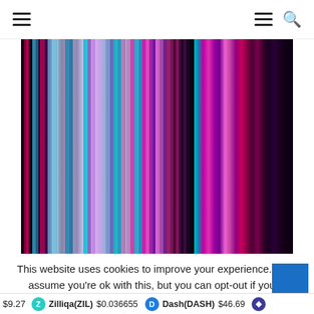Navigation header with hamburger menu and search icon
[Figure (illustration): Abstract colorful vertical stripes in shades of pink, magenta, purple, lavender, blue, cyan, and dark maroon — resembling a movie barcode or spectral color bars.]
This website uses cookies to improve your experience. We'll assume you're ok with this, but you can opt-out if you w
$9.27   Zilliqa(ZIL) $0.036655   Dash(DASH) $46.69